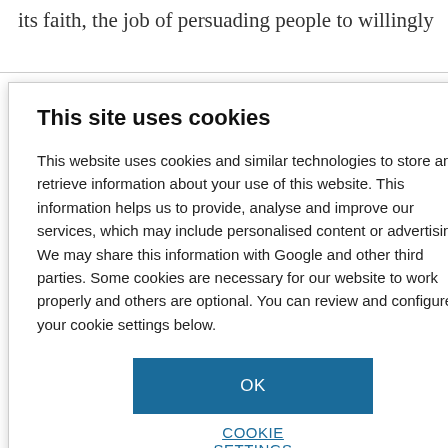its faith, the job of persuading people to willingly
becomes much
re fiat is all that
ake the months
[Figure (screenshot): Cookie consent dialog overlay with title 'This site uses cookies', body text explaining cookie usage, an OK button in blue, and a COOKIE SETTINGS link below.]
[Figure (infographic): Advertisement box with green background showing partial text 'MR: istrial with scopy' and a small product image.]